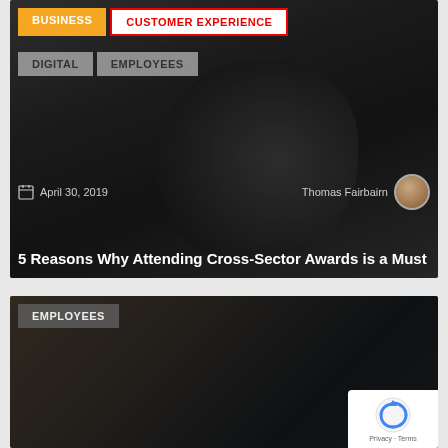[Figure (photo): Top article card: dark background with sneaker/shoe close-up photo. Tags: BUSINESS (orange), CUSTOMER EXPERIENCE (red outline), DIGITAL (gray), EMPLOYEES (gray). Date: April 30, 2019. Author: Thomas Fairbairn with avatar. Title: 5 Reasons Why Attending Cross-Sector Awards is a Must]
5 Reasons Why Attending Cross-Sector Awards is a Must
[Figure (photo): Bottom article card: dark office photo with employees at computers. Tag: EMPLOYEES (dark gray). reCAPTCHA overlay in bottom-right corner.]